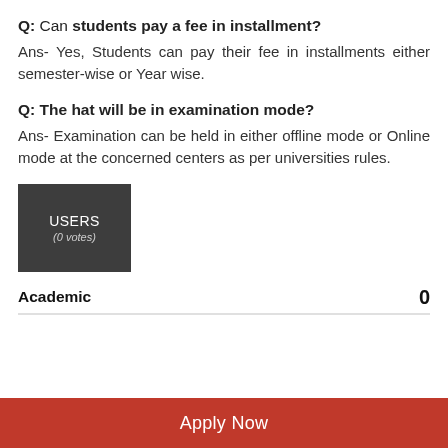Q: Can students pay a fee in installment?
Ans- Yes, Students can pay their fee in installments either semester-wise or Year wise.
Q: The hat will be in examination mode?
Ans- Examination can be held in either offline mode or Online mode at the concerned centers as per universities rules.
[Figure (infographic): Dark grey square widget showing USERS label and (0 votes) subtitle]
Academic  0
Apply Now